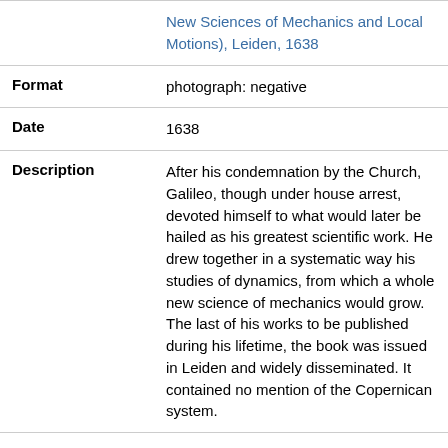| Field | Value |
| --- | --- |
|  | New Sciences of Mechanics and Local Motions), Leiden, 1638 |
| Format | photograph: negative |
| Date | 1638 |
| Description | After his condemnation by the Church, Galileo, though under house arrest, devoted himself to what would later be hailed as his greatest scientific work. He drew together in a systematic way his studies of dynamics, from which a whole new science of mechanics would grow. The last of his works to be published during his lifetime, the book was issued in Leiden and widely disseminated. It contained no mention of the Copernican system. |
[Figure (photo): Thumbnail image of Synagogue, Dukes Place, Houndsditch — interior view of a synagogue with arched ceiling and figures]
Title: Synagogue, Dukes Place, Houndsditch